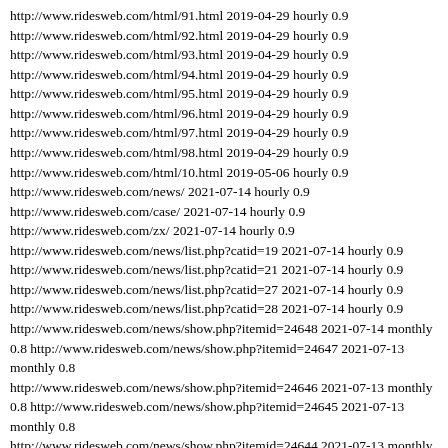http://www.ridesweb.com/html/91.html 2019-04-29 hourly 0.9 http://www.ridesweb.com/html/92.html 2019-04-29 hourly 0.9 http://www.ridesweb.com/html/93.html 2019-04-29 hourly 0.9 http://www.ridesweb.com/html/94.html 2019-04-29 hourly 0.9 http://www.ridesweb.com/html/95.html 2019-04-29 hourly 0.9 http://www.ridesweb.com/html/96.html 2019-04-29 hourly 0.9 http://www.ridesweb.com/html/97.html 2019-04-29 hourly 0.9 http://www.ridesweb.com/html/98.html 2019-04-29 hourly 0.9 http://www.ridesweb.com/html/10.html 2019-05-06 hourly 0.9 http://www.ridesweb.com/news/ 2021-07-14 hourly 0.9 http://www.ridesweb.com/case/ 2021-07-14 hourly 0.9 http://www.ridesweb.com/zx/ 2021-07-14 hourly 0.9 http://www.ridesweb.com/news/list.php?catid=19 2021-07-14 hourly 0.9 http://www.ridesweb.com/news/list.php?catid=21 2021-07-14 hourly 0.9 http://www.ridesweb.com/news/list.php?catid=27 2021-07-14 hourly 0.9 http://www.ridesweb.com/news/list.php?catid=28 2021-07-14 hourly 0.9 http://www.ridesweb.com/news/show.php?itemid=24648 2021-07-14 monthly 0.8 http://www.ridesweb.com/news/show.php?itemid=24647 2021-07-13 monthly 0.8 http://www.ridesweb.com/news/show.php?itemid=24646 2021-07-13 monthly 0.8 http://www.ridesweb.com/news/show.php?itemid=24645 2021-07-13 monthly 0.8 http://www.ridesweb.com/news/show.php?itemid=24644 2021-07-13 monthly 0.8 http://www.ridesweb.com/news/show.php?itemid=24643 2021-07-13 monthly 0.8